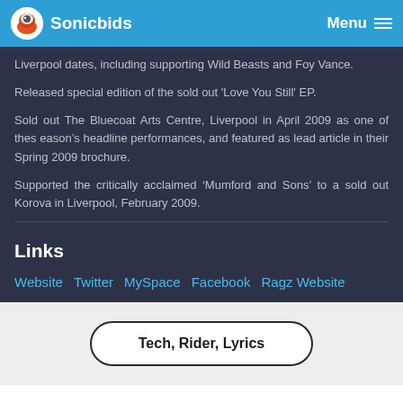Sonicbids  Menu
Liverpool dates, including supporting Wild Beasts and Foy Vance.
Released special edition of the sold out 'Love You Still' EP.
Sold out The Bluecoat Arts Centre, Liverpool in April 2009 as one of thes eason's headline performances, and featured as lead article in their Spring 2009 brochure.
Supported the critically acclaimed 'Mumford and Sons' to a sold out Korova in Liverpool, February 2009.
Links
Website  Twitter  MySpace  Facebook  Ragz Website
Tech, Rider, Lyrics